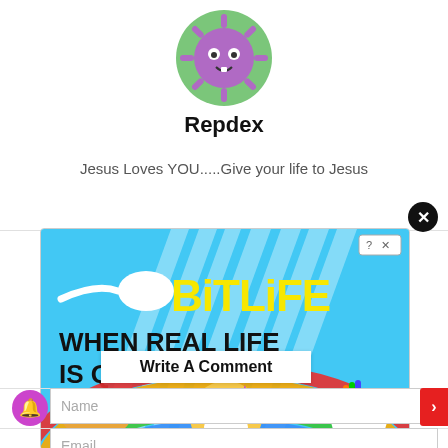[Figure (illustration): Circular avatar icon: a purple virus/gear-shaped cartoon character with a green circular background, two eyes and a small tooth, smiling]
Repdex
Jesus Loves YOU.....Give your life to Jesus
[Figure (screenshot): BitLife advertisement banner: blue background with sunbeam effect, white sperm icon on the left, yellow stylized 'BitLife' text on the right with small question mark and X button. Below reads 'WHEN REAL LIFE IS QUARANTINED' in black bold text. Lower half shows a thumbs-up hand, a masked emoji with purple stars, and a unicorn on a rainbow background. A white 'Write A Comment' button overlays the center.]
Name
Email